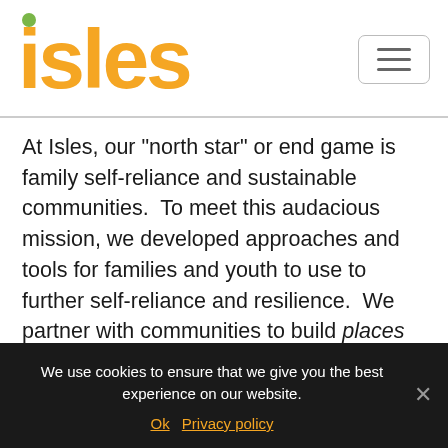isles
At Isles, our "north star" or end game is family self-reliance and sustainable communities.  To meet this audacious mission, we developed approaches and tools for families and youth to use to further self-reliance and resilience.  We partner with communities to build places (homes, former factories, gardens, parks, community plans), train and educate youth and adults, help
We use cookies to ensure that we give you the best experience on our website.
Ok   Privacy policy